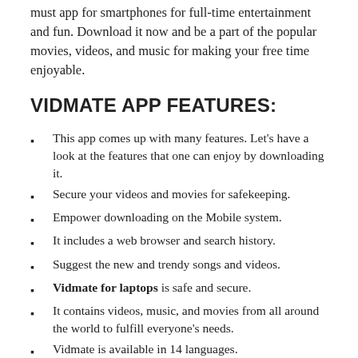must app for smartphones for full-time entertainment and fun. Download it now and be a part of the popular movies, videos, and music for making your free time enjoyable.
VIDMATE APP FEATURES:
This app comes up with many features. Let's have a look at the features that one can enjoy by downloading it.
Secure your videos and movies for safekeeping.
Empower downloading on the Mobile system.
It includes a web browser and search history.
Suggest the new and trendy songs and videos.
Vidmate for laptops is safe and secure.
It contains videos, music, and movies from all around the world to fulfill everyone's needs.
Vidmate is available in 14 languages.